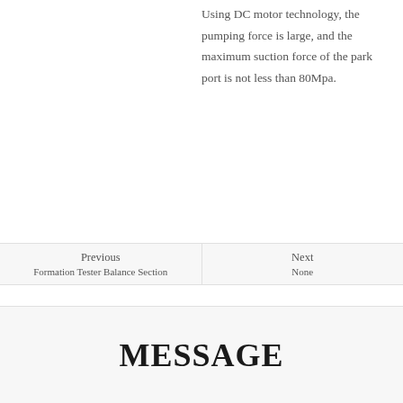Using DC motor technology, the pumping force is large, and the maximum suction force of the park port is not less than 80Mpa.
| Previous | Next |
| --- | --- |
| Formation Tester Balance Section | None |
MESSAGE